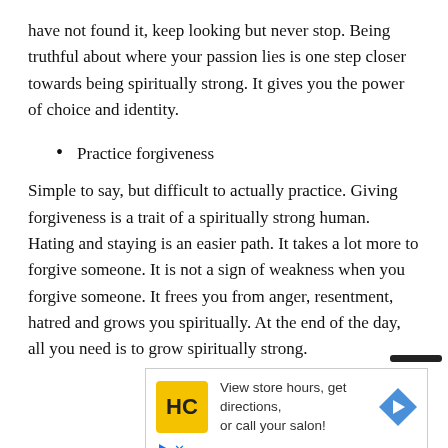have not found it, keep looking but never stop. Being truthful about where your passion lies is one step closer towards being spiritually strong. It gives you the power of choice and identity.
Practice forgiveness
Simple to say, but difficult to actually practice. Giving forgiveness is a trait of a spiritually strong human. Hating and staying is an easier path. It takes a lot more to forgive someone. It is not a sign of weakness when you forgive someone. It frees you from anger, resentment, hatred and grows you spiritually. At the end of the day, all you need is to grow spiritually strong.
[Figure (other): Advertisement banner for a salon: HC logo (yellow background), text 'View store hours, get directions, or call your salon!', blue diamond arrow icon, and ad controls (play and close buttons).]